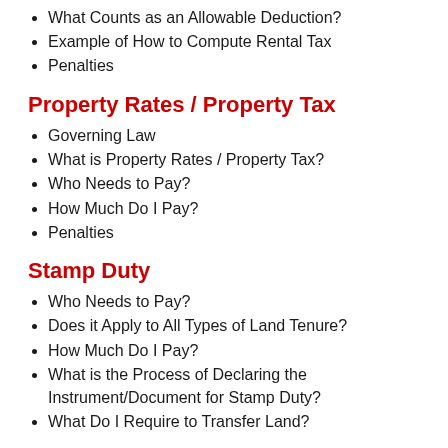What Counts as an Allowable Deduction?
Example of How to Compute Rental Tax
Penalties
Property Rates / Property Tax
Governing Law
What is Property Rates / Property Tax?
Who Needs to Pay?
How Much Do I Pay?
Penalties
Stamp Duty
Who Needs to Pay?
Does it Apply to All Types of Land Tenure?
How Much Do I Pay?
What is the Process of Declaring the Instrument/Document for Stamp Duty?
What Do I Require to Transfer Land?